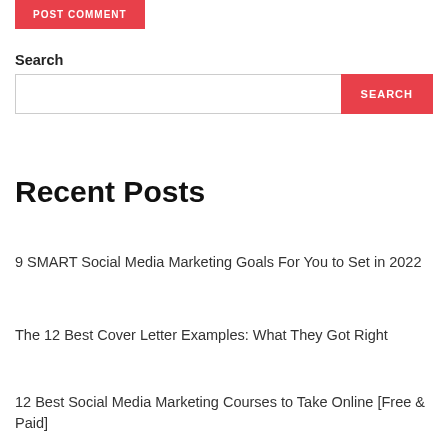POST COMMENT
Search
Recent Posts
9 SMART Social Media Marketing Goals For You to Set in 2022
The 12 Best Cover Letter Examples: What They Got Right
12 Best Social Media Marketing Courses to Take Online [Free & Paid]